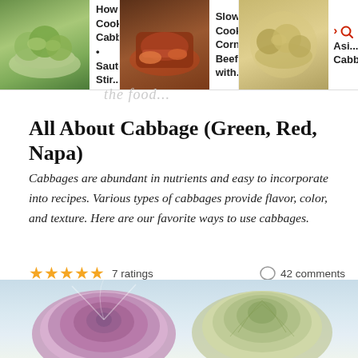[Figure (screenshot): Website header navigation showing food recipe cards: 'How to Cook Cabbage • Sauté, Stir...', 'Slow Cooker Corned Beef with...', and 'Crunchy Asian Cabbage' with food photos]
All About Cabbage (Green, Red, Napa)
Cabbages are abundant in nutrients and easy to incorporate into recipes. Various types of cabbages provide flavor, color, and texture. Here are our favorite ways to use cabbages.
★★★★★ 7 ratings    💬 42 comments
JUMP TO RECIPE    193 ♥
[Figure (photo): Bottom portion showing red cabbage (halved, showing purple interior) and green/napa cabbage on a light blue-grey background]